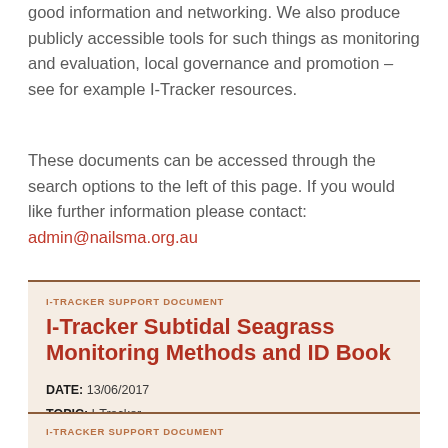good information and networking. We also produce publicly accessible tools for such things as monitoring and evaluation, local governance and promotion – see for example I-Tracker resources.
These documents can be accessed through the search options to the left of this page. If you would like further information please contact: admin@nailsma.org.au
I-TRACKER SUPPORT DOCUMENT
I-Tracker Subtidal Seagrass Monitoring Methods and ID Book
DATE: 13/06/2017
TOPIC: I-Tracker
REGION: North Australia
I-TRACKER SUPPORT DOCUMENT